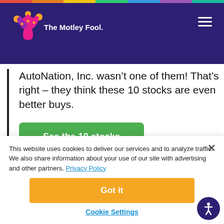The Motley Fool
AutoNation, Inc. wasn't one of them! That's right -- they think these 10 stocks are even better buys.
See the 10 stocks
This website uses cookies to deliver our services and to analyze traffic. We also share information about your use of our site with advertising and other partners. Privacy Policy
Got it
Cookie Settings